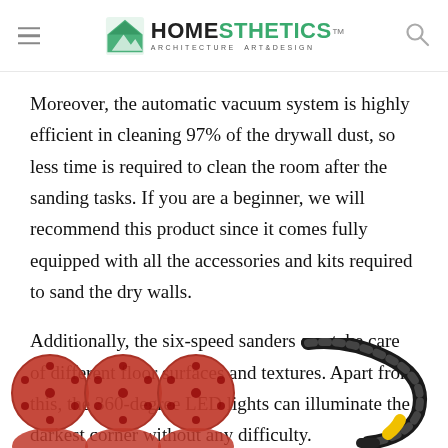Homesthetics — Architecture Art & Design
Moreover, the automatic vacuum system is highly efficient in cleaning 97% of the drywall dust, so less time is required to clean the room after the sanding tasks. If you are a beginner, we will recommend this product since it comes fully equipped with all the accessories and kits required to sand the dry walls.
Additionally, the six-speed sanders can take care of different floor surfaces and textures. Apart from this, the 360-degree LED lights can illuminate the darkest corner without any difficulty.
[Figure (photo): Red sanding discs arranged in a grid — six circular discs with hole patterns visible]
[Figure (photo): Black and yellow flexible hose/cable accessory for drywall sander]